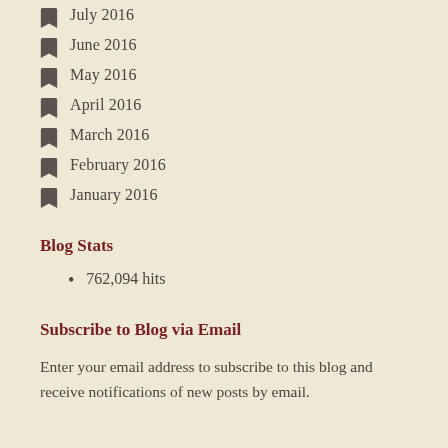July 2016
June 2016
May 2016
April 2016
March 2016
February 2016
January 2016
Blog Stats
762,094 hits
Subscribe to Blog via Email
Enter your email address to subscribe to this blog and receive notifications of new posts by email.